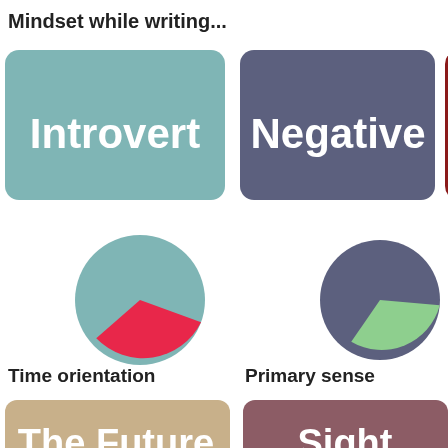Mindset while writing...
[Figure (infographic): Three colored badge/button labels: 'Introvert' (teal/muted blue-green background), 'Negative' (muted purple/slate background), 'Un...' (dark red, partially cut off)]
[Figure (pie-chart): Pie chart mostly teal with a red/crimson slice of about 25%]
[Figure (pie-chart): Pie chart mostly slate/dark purple with a light green slice of about 20%]
Time orientation
Primary sense
[Figure (infographic): Two colored badge/button labels partially visible at bottom: 'The Future' (tan/khaki background) and 'Sight' (muted rose/mauve background)]